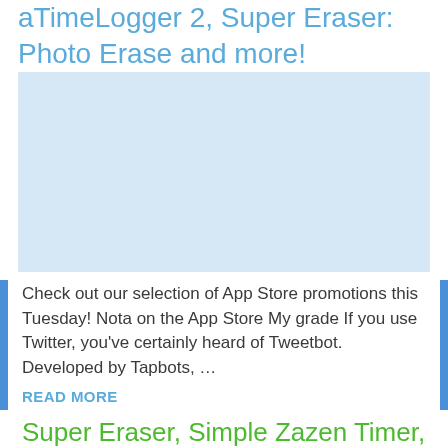aTimeLogger 2, Super Eraser: Photo Erase and more!
[Figure (photo): Light blue placeholder image area for an article thumbnail]
Check out our selection of App Store promotions this Tuesday! Nota on the App Store My grade If you use Twitter, you've certainly heard of Tweetbot. Developed by Tapbots, …
READ MORE
Super Eraser, Simple Zazen Timer, Publisher Lab – Templates and more!